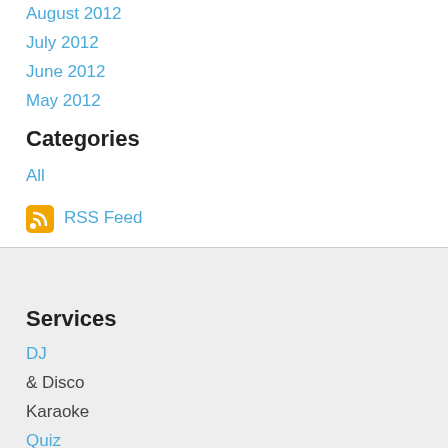August 2012
July 2012
June 2012
May 2012
Categories
All
RSS Feed
Services
DJ & Disco
Karaoke
Quiz
Bingo & Race Nights
Pub Quizzes
Sunday - Machair
Monday - USSA
Monday - Lord Todd